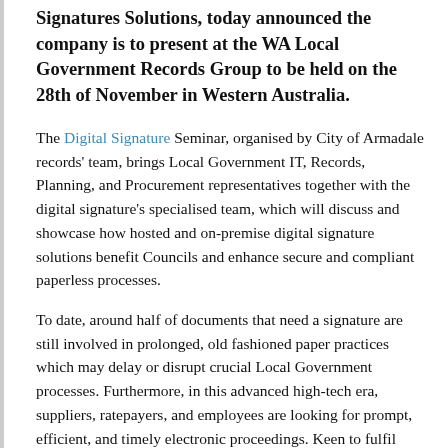Signatures Solutions, today announced the company is to present at the WA Local Government Records Group to be held on the 28th of November in Western Australia.
The Digital Signature Seminar, organised by City of Armadale records' team, brings Local Government IT, Records, Planning, and Procurement representatives together with the digital signature's specialised team, which will discuss and showcase how hosted and on-premise digital signature solutions benefit Councils and enhance secure and compliant paperless processes.
To date, around half of documents that need a signature are still involved in prolonged, old fashioned paper practices which may delay or disrupt crucial Local Government processes. Furthermore, in this advanced high-tech era, suppliers, ratepayers, and employees are looking for prompt, efficient, and timely electronic proceedings. Keen to fulfil these expectations, Councils